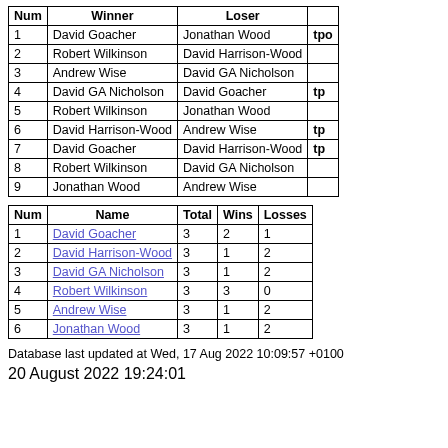| Num | Winner | Loser |  |
| --- | --- | --- | --- |
| 1 | David Goacher | Jonathan Wood | tpo |
| 2 | Robert Wilkinson | David Harrison-Wood |  |
| 3 | Andrew Wise | David GA Nicholson |  |
| 4 | David GA Nicholson | David Goacher | tp |
| 5 | Robert Wilkinson | Jonathan Wood |  |
| 6 | David Harrison-Wood | Andrew Wise | tp |
| 7 | David Goacher | David Harrison-Wood | tp |
| 8 | Robert Wilkinson | David GA Nicholson |  |
| 9 | Jonathan Wood | Andrew Wise |  |
| Num | Name | Total | Wins | Losses |
| --- | --- | --- | --- | --- |
| 1 | David Goacher | 3 | 2 | 1 |
| 2 | David Harrison-Wood | 3 | 1 | 2 |
| 3 | David GA Nicholson | 3 | 1 | 2 |
| 4 | Robert Wilkinson | 3 | 3 | 0 |
| 5 | Andrew Wise | 3 | 1 | 2 |
| 6 | Jonathan Wood | 3 | 1 | 2 |
Database last updated at Wed, 17 Aug 2022 10:09:57 +0100
20 August 2022 19:24:01